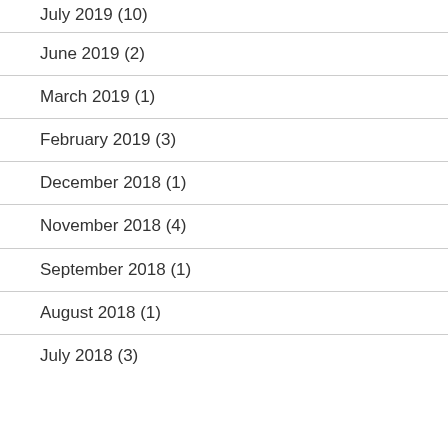July 2019 (10)
June 2019 (2)
March 2019 (1)
February 2019 (3)
December 2018 (1)
November 2018 (4)
September 2018 (1)
August 2018 (1)
July 2018 (3)